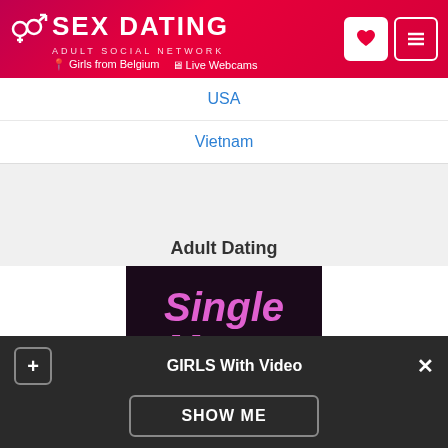SEX DATING ADULT SOCIAL NETWORK | Girls from Belgium | Live Webcams
USA
Vietnam
Adult Dating
[Figure (illustration): Adult dating advertisement banner with text 'Single Moms Need Cock' in pink and white bold letters on black background]
GIRLS With Video
SHOW ME